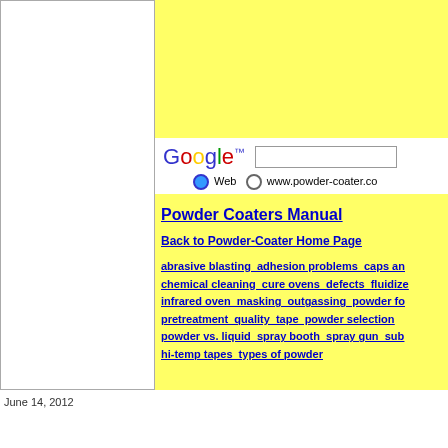[Figure (screenshot): Screenshot of a website with a white left panel and yellow right panel containing a Google search bar with radio buttons for 'Web' and 'www.powder-coater.co', followed by website navigation links for Powder Coaters Manual.]
Powder Coaters Manual
Back to Powder-Coater Home Page
abrasive blasting adhesion problems caps and chemical cleaning cure ovens defects fluidize infrared oven masking outgassing powder for pretreatment quality tape powder selection powder vs. liquid spray booth spray gun subs hi-temp tapes types of powder
June 14, 2012